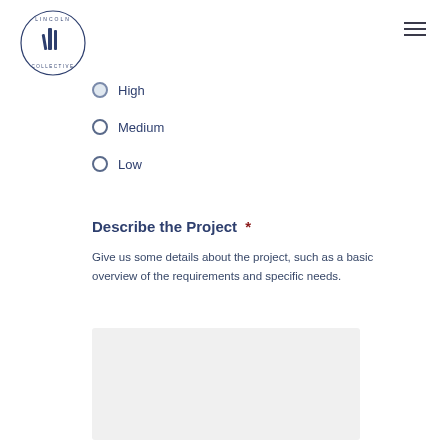[Figure (logo): Lincoln Collective circular logo with pencils/rulers illustration]
High (partially visible, cut off at top)
Medium
Low
Describe the Project  *
Give us some details about the project, such as a basic overview of the requirements and specific needs.
[Figure (screenshot): Empty light gray textarea input field for project description]